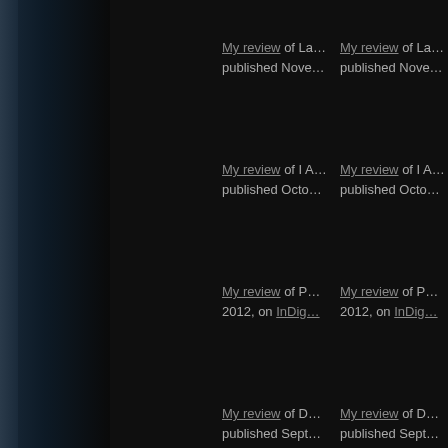My review of La... published Nove...
My review of I A... published Octo...
My review of P... 2012, on InDig...
My review of D... published Sept...
My review of E... September 3, 2...
My review of Al... Seidlinger's In ... Summer 2012 I...
My review of G... 2012, in All Thi...
My review of Al... 27, 2012, on In...